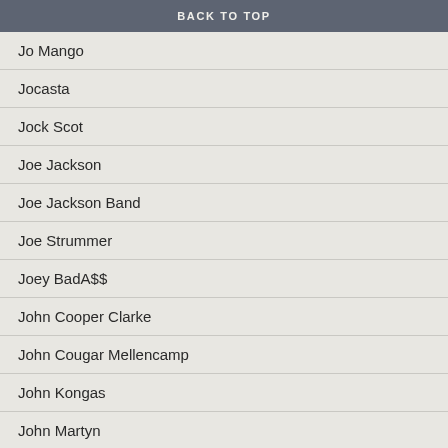BACK TO TOP
Jo Mango
Jocasta
Jock Scot
Joe Jackson
Joe Jackson Band
Joe Strummer
Joey BadA$$
John Cooper Clarke
John Cougar Mellencamp
John Kongas
John Martyn
John McGeoch
John Moore